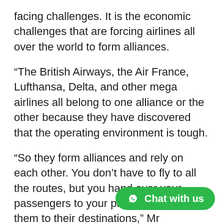facing challenges. It is the economic challenges that are forcing airlines all over the world to form alliances.
“The British Airways, the Air France, Lufthansa, Delta, and other mega airlines all belong to one alliance or the other because they have discovered that the operating environment is tough.
“So they form alliances and rely on each other. You don’t have to fly to all the routes, but you hand over your passengers to your partners to carry them to their destinations,” Mr Adurogboye said.
According to him, Nigerian airlines have not been able to key into these partnership… encouragement being given to…